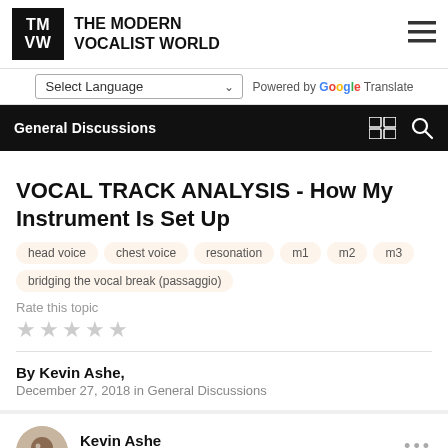THE MODERN VOCALIST WORLD
Select Language — Powered by Google Translate
General Discussions
VOCAL TRACK ANALYSIS - How My Instrument Is Set Up
head voice
chest voice
resonation
m1
m2
m3
bridging the vocal break (passaggio)
Rate this topic
By Kevin Ashe,
December 27, 2018 in General Discussions
Kevin Ashe